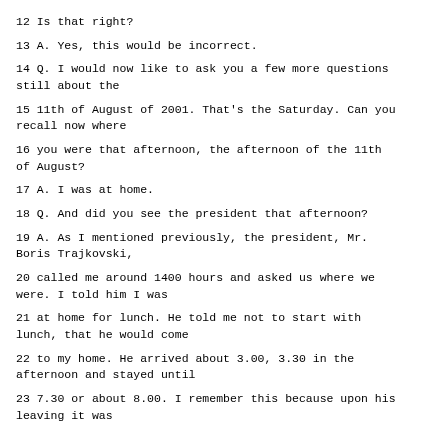12 Is that right?
13 A. Yes, this would be incorrect.
14 Q. I would now like to ask you a few more questions still about the
15 11th of August of 2001. That's the Saturday. Can you recall now where
16 you were that afternoon, the afternoon of the 11th of August?
17 A. I was at home.
18 Q. And did you see the president that afternoon?
19 A. As I mentioned previously, the president, Mr. Boris Trajkovski,
20 called me around 1400 hours and asked us where we were. I told him I was
21 at home for lunch. He told me not to start with lunch, that he would come
22 to my home. He arrived about 3.00, 3.30 in the afternoon and stayed until
23 7.30 or about 8.00. I remember this because upon his leaving it was